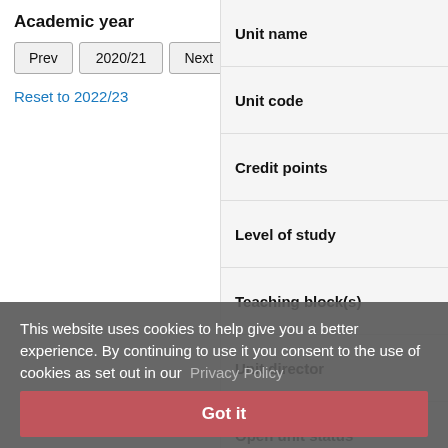Academic year
Prev  2020/21  Next
Reset to 2022/23
| Unit name |
| Unit code |
| Credit points |
| Level of study |
| Teaching block(s) |
| Unit director |
| Open unit status |
| Pre-requisites |
| Co-requisites |
| School/department |
| Faculty |
This website uses cookies to help give you a better experience. By continuing to use it you consent to the use of cookies as set out in our  Privacy Policy
Got it